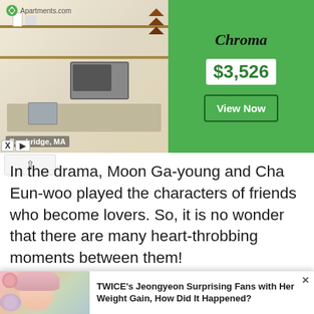[Figure (screenshot): Apartments.com advertisement banner showing a Cambridge, MA apartment kitchen with shelves, microwave, and kitchen appliances. Right side shows green background with brand name 'Chroma', price '$3,526', and 'View Now' button.]
In the drama, Moon Ga-young and Cha Eun-woo played the characters of friends who become lovers. So, it is no wonder that there are many heart-throbbing moments between them!
[Figure (photo): Korean drama promotional image with Korean title text (여신강림 / True Beauty) showing a male character and a female character with glasses in a library/room setting with skull decorations. tvN logo visible.]
[Figure (screenshot): Popup notification thumbnail of a female K-pop idol (likely a TWICE member) with pink/blonde hair surrounded by flowers.]
TWICE's Jeongyeon Surprising Fans with Her Weight Gain, How Did It Happened?